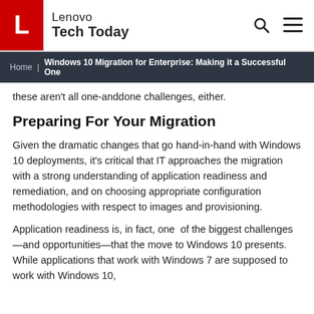Lenovo Tech Today
Home | Windows 10 Migration for Enterprise: Making it a Successful One
these aren't all one-anddone challenges, either.
Preparing For Your Migration
Given the dramatic changes that go hand-in-hand with Windows 10 deployments, it's critical that IT approaches the migration with a strong understanding of application readiness and remediation, and on choosing appropriate configuration methodologies with respect to images and provisioning.
Application readiness is, in fact, one of the biggest challenges—and opportunities—that the move to Windows 10 presents. While applications that work with Windows 7 are supposed to work with Windows 10,